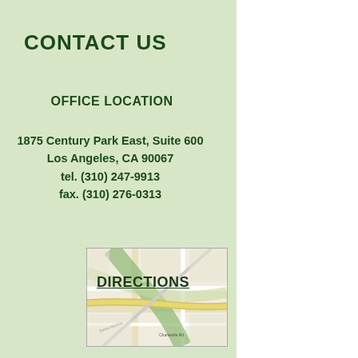CONTACT US
OFFICE LOCATION
1875 Century Park East, Suite 600
Los Angeles, CA 90067
tel. (310) 247-9913
fax. (310) 276-0313
[Figure (map): A street map thumbnail showing the area near Century Park East in Los Angeles, with a DIRECTIONS label overlaid]